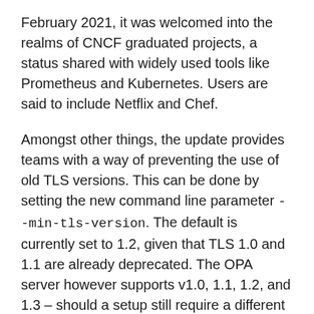February 2021, it was welcomed into the realms of CNCF graduated projects, a status shared with widely used tools like Prometheus and Kubernetes. Users are said to include Netflix and Chef.
Amongst other things, the update provides teams with a way of preventing the use of old TLS versions. This can be done by setting the new command line parameter --min-tls-version. The default is currently set to 1.2, given that TLS 1.0 and 1.1 are already deprecated. The OPA server however supports v1.0, 1.1, 1.2, and 1.3 – should a setup still require a different minimum.
Users who recently had trouble with bundle-supplied policies being overwritten via the OPA API should find the issue fixed with the current release. The agent will now act as documented again and